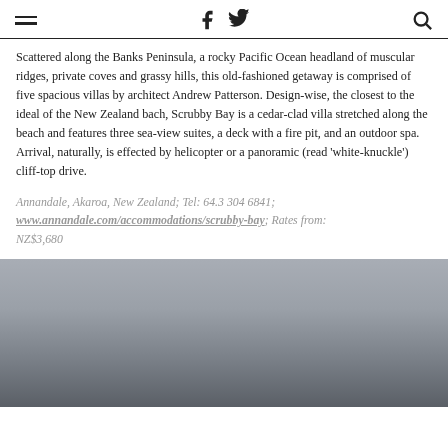≡  f  🐦  🔍
Scattered along the Banks Peninsula, a rocky Pacific Ocean headland of muscular ridges, private coves and grassy hills, this old-fashioned getaway is comprised of five spacious villas by architect Andrew Patterson. Design-wise, the closest to the ideal of the New Zealand bach, Scrubby Bay is a cedar-clad villa stretched along the beach and features three sea-view suites, a deck with a fire pit, and an outdoor spa. Arrival, naturally, is effected by helicopter or a panoramic (read 'white-knuckle') cliff-top drive.
Annandale, Akaroa, New Zealand; Tel: 64.3 304 6841; www.annandale.com/accommodations/scrubby-bay; Rates from: NZ$3,680
[Figure (photo): A muted, grey-toned outdoor photograph, possibly showing a coastal or landscape scene, partially visible at the bottom of the page.]